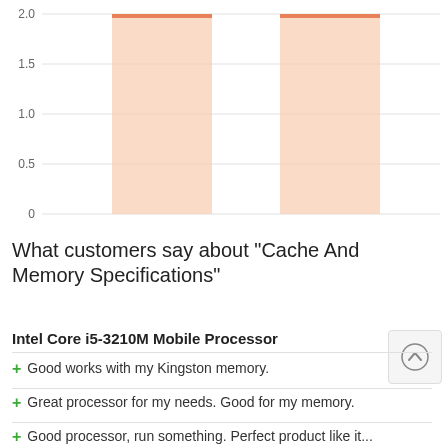[Figure (bar-chart): ]
What customers say about "Cache And Memory Specifications"
Intel Core i5-3210M Mobile Processor
+ Good works with my Kingston memory.
+ Great processor for my needs. Good for my memory.
+ Good processor, run something. Perfect product like it...